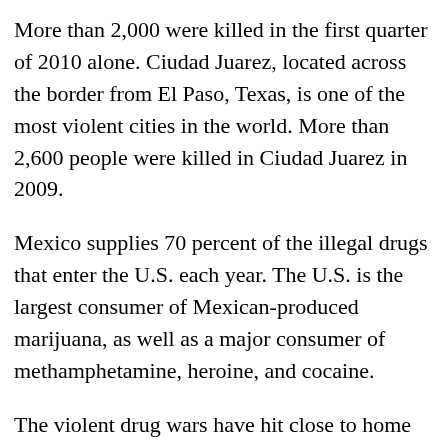More than 2,000 were killed in the first quarter of 2010 alone. Ciudad Juarez, located across the border from El Paso, Texas, is one of the most violent cities in the world. More than 2,600 people were killed in Ciudad Juarez in 2009.
Mexico supplies 70 percent of the illegal drugs that enter the U.S. each year. The U.S. is the largest consumer of Mexican-produced marijuana, as well as a major consumer of methamphetamine, heroine, and cocaine.
The violent drug wars have hit close to home for the six Mission Society missionaries and their children